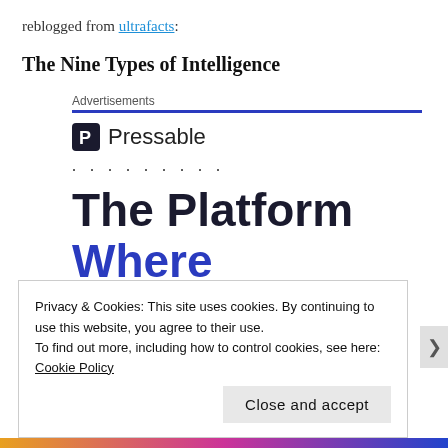reblogged from ultrafacts:
The Nine Types of Intelligence
[Figure (infographic): Pressable advertisement block with 'Advertisements' label, blue border line, Pressable logo, dotted line, and headline text 'The Platform Where WordPress Works Best']
Privacy & Cookies: This site uses cookies. By continuing to use this website, you agree to their use.
To find out more, including how to control cookies, see here: Cookie Policy
Close and accept